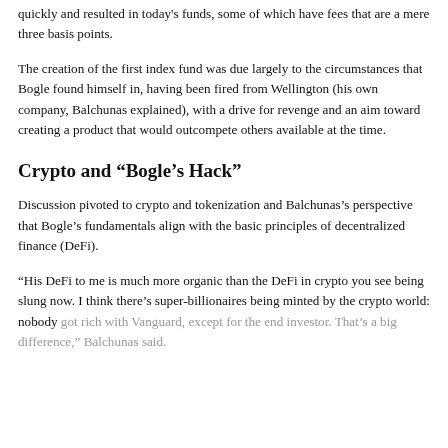quickly and resulted in today's funds, some of which have fees that are a mere three basis points.
The creation of the first index fund was due largely to the circumstances that Bogle found himself in, having been fired from Wellington (his own company, Balchunas explained), with a drive for revenge and an aim toward creating a product that would outcompete others available at the time.
Crypto and “Bogle’s Hack”
Discussion pivoted to crypto and tokenization and Balchunas’s perspective that Bogle’s fundamentals align with the basic principles of decentralized finance (DeFi).
“His DeFi to me is much more organic than the DeFi in crypto you see being slung now. I think there’s super-billionaires being minted by the crypto world: nobody got rich with Vanguard, except for the end investor. That’s a big difference,” Balchunas said.